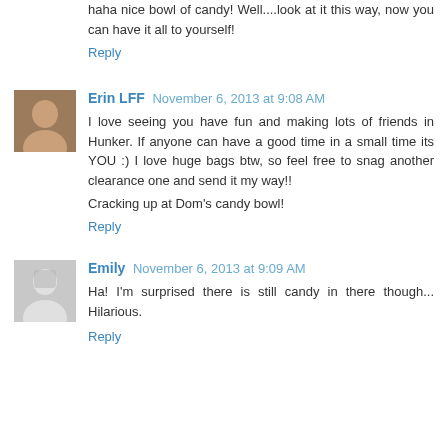haha nice bowl of candy! Well....look at it this way, now you can have it all to yourself!
Reply
Erin LFF November 6, 2013 at 9:08 AM
I love seeing you have fun and making lots of friends in Hunker. If anyone can have a good time in a small time its YOU :) I love huge bags btw, so feel free to snag another clearance one and send it my way!!
Cracking up at Dom's candy bowl!
Reply
Emily November 6, 2013 at 9:09 AM
Ha! I'm surprised there is still candy in there though... Hilarious.
Reply